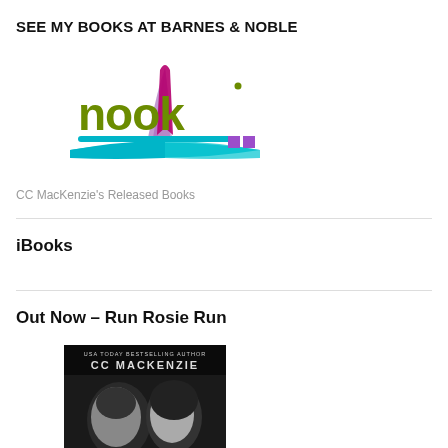SEE MY BOOKS AT BARNES & NOBLE
[Figure (logo): Nook logo with open book in cyan/teal, 'nook' text in olive green, stylized open book pages in purple/magenta, two small purple squares]
CC MacKenzie's Released Books
iBooks
Out Now – Run Rosie Run
[Figure (photo): Book cover of CC MacKenzie's Run Rosie Run - black and white photo of a man and woman close together, text 'USA TODAY BESTSELLING AUTHOR CC MACKENZIE' at top]